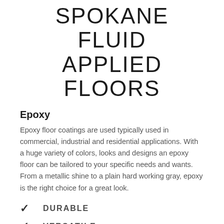SPOKANE FLUID APPLIED FLOORS
Epoxy
Epoxy floor coatings are used typically used in commercial, industrial and residential applications. With a huge variety of colors, looks and designs an epoxy floor can be tailored to your specific needs and wants. From a metallic shine to a plain hard working gray, epoxy is the right choice for a great look.
DURABLE
VERSATILE
SEAMLESS